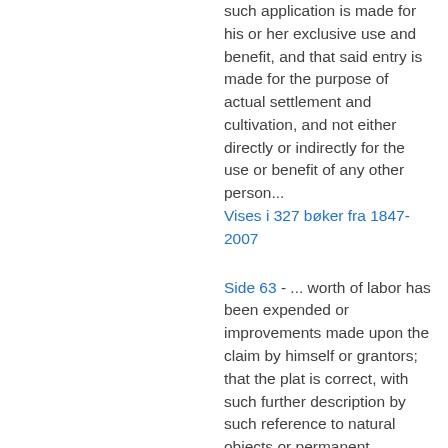such application is made for his or her exclusive use and benefit, and that said entry is made for the purpose of actual settlement and cultivation, and not either directly or indirectly for the use or benefit of any other person...
Vises i 327 bøker fra 1847-2007
Side 63 - ... worth of labor has been expended or improvements made upon the claim by himself or grantors; that the plat is correct, with such further description by such reference to natural objects or permanent monuments